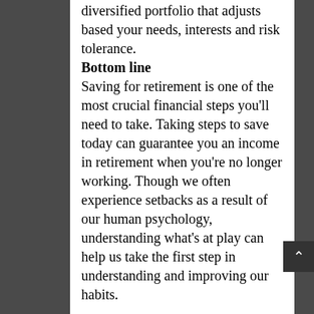diversified portfolio that adjusts based your needs, interests and risk tolerance.
Bottom line
Saving for retirement is one of the most crucial financial steps you'll need to take. Taking steps to save today can guarantee you an income in retirement when you're no longer working. Though we often experience setbacks as a result of our human psychology, understanding what's at play can help us take the first step in understanding and improving our habits.
https://www.cnbc.com/select/why-retirement-saving-is-hard-according-to-behavioral-economics/